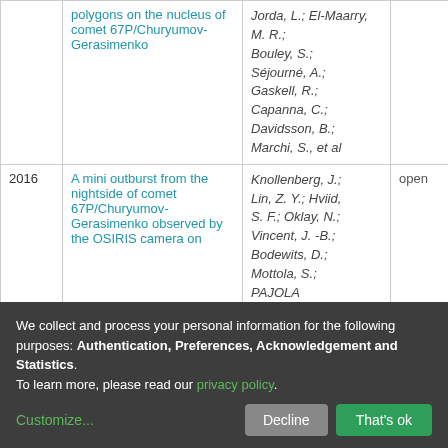| Year | Title | Authors | Access |
| --- | --- | --- | --- |
|  | polygons on the nucleus of comet 67P/Churyumov-Gerasimenko | Jorda, L.; El-Maarry, M. R.; Bouley, S.; Séjourné, A.; Gaskell, R.; Capanna, C.; Davidsson, B.; Marchi, S., et al |  |
| 2016 | A mini outburst from the nightside of comet 67P/Churyumov-Gerasimenko observed by the OSIRIS camera on | Knollenberg, J.; Lin, Z. Y.; Hviid, S. F.; Oklay, N.; Vincent, J. -B.; Bodewits, D.; Mottola, S.; PAJOLA | open |
We collect and process your personal information for the following purposes: Authentication, Preferences, Acknowledgement and Statistics. To learn more, please read our privacy policy.